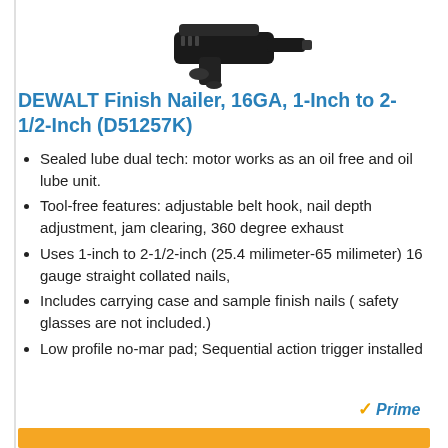[Figure (photo): DEWALT finish nailer tool shown from above at an angle, black color, pneumatic nail gun]
DEWALT Finish Nailer, 16GA, 1-Inch to 2-1/2-Inch (D51257K)
Sealed lube dual tech: motor works as an oil free and oil lube unit.
Tool-free features: adjustable belt hook, nail depth adjustment, jam clearing, 360 degree exhaust
Uses 1-inch to 2-1/2-inch (25.4 milimeter-65 milimeter) 16 gauge straight collated nails,
Includes carrying case and sample finish nails ( safety glasses are not included.)
Low profile no-mar pad; Sequential action trigger installed